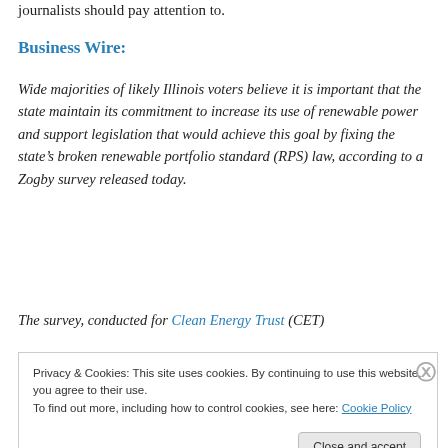journalists should pay attention to.
Business Wire:
Wide majorities of likely Illinois voters believe it is important that the state maintain its commitment to increase its use of renewable power and support legislation that would achieve this goal by fixing the state's broken renewable portfolio standard (RPS) law, according to a Zogby survey released today.
The survey, conducted for Clean Energy Trust (CET)
Privacy & Cookies: This site uses cookies. By continuing to use this website, you agree to their use.
To find out more, including how to control cookies, see here: Cookie Policy
Close and accept